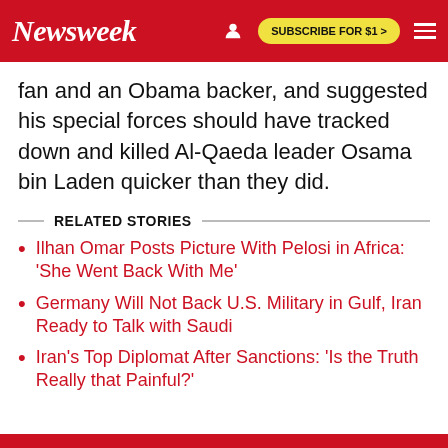Newsweek | SUBSCRIBE FOR $1 >
fan and an Obama backer, and suggested his special forces should have tracked down and killed Al-Qaeda leader Osama bin Laden quicker than they did.
RELATED STORIES
Ilhan Omar Posts Picture With Pelosi in Africa: 'She Went Back With Me'
Germany Will Not Back U.S. Military in Gulf, Iran Ready to Talk with Saudi
Iran's Top Diplomat After Sanctions: 'Is the Truth Really that Painful?'